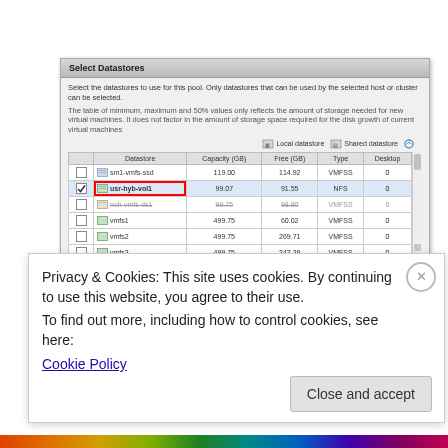[Figure (screenshot): VMware vCenter 'Select Datastores' dialog showing a table of datastores with columns: Datastore, Capacity (GB), Free (GB), Type, Desktop. Rows include sm1-vmfs-ssd, usr-hyb-vol1 (checked, highlighted in red border), noh-vmfs-ds1 (strikethrough), vmfs1, vmfs2, vmfs3. Legend shows Local datastore and Shared datastore icons.]
Privacy & Cookies: This site uses cookies. By continuing to use this website, you agree to their use.
To find out more, including how to control cookies, see here:
Cookie Policy